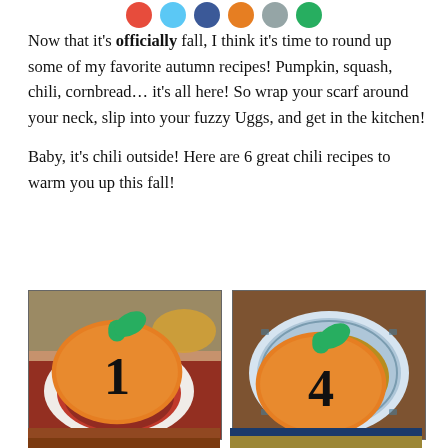[Figure (other): Social media sharing icons (circular buttons): red, light blue, dark blue, orange, gray, green]
Now that it's officially fall, I think it's time to round up some of my favorite autumn recipes! Pumpkin, squash, chili, cornbread… it's all here! So wrap your scarf around your neck, slip into your fuzzy Uggs, and get in the kitchen!
Baby, it's chili outside! Here are 6 great chili recipes to warm you up this fall!
[Figure (photo): Bowl of red chili with beans, cheese, and cilantro garnish on a white plate with bread. Badge showing number 1 with pumpkin icon.]
[Figure (photo): Bowl of lighter chili on a decorative plate with sour cream on top. Badge showing number 4 with pumpkin icon.]
[Figure (photo): Bottom partial image of chili bowl - brown/warm tones]
[Figure (photo): Bottom partial image of another dish - blue/yellow tones]